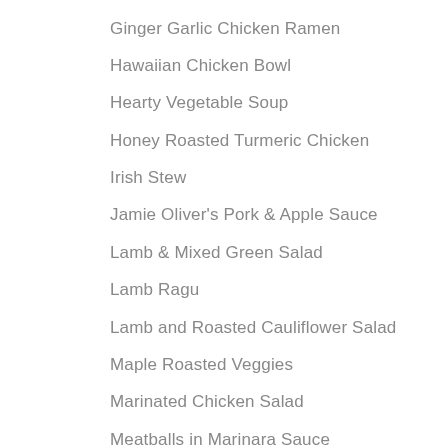Ginger Garlic Chicken Ramen
Hawaiian Chicken Bowl
Hearty Vegetable Soup
Honey Roasted Turmeric Chicken
Irish Stew
Jamie Oliver's Pork & Apple Sauce
Lamb & Mixed Green Salad
Lamb Ragu
Lamb and Roasted Cauliflower Salad
Maple Roasted Veggies
Marinated Chicken Salad
Meatballs in Marinara Sauce
Miso-Glazed Salmon Bowl
Mongolian Beef
Moroccan Chicken Bake